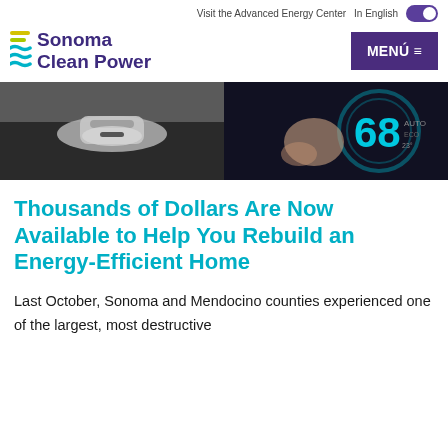Visit the Advanced Energy Center   In English
[Figure (logo): Sonoma Clean Power logo with colored horizontal lines icon and purple text]
[Figure (photo): Two side-by-side photos: left shows a chrome kitchen faucet handle on a dark stovetop, right shows a hand pressing a glowing thermostat displaying 68 degrees]
Thousands of Dollars Are Now Available to Help You Rebuild an Energy-Efficient Home
Last October, Sonoma and Mendocino counties experienced one of the largest, most destructive